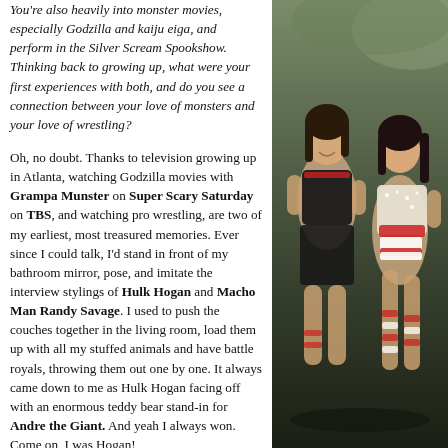You're also heavily into monster movies, especially Godzilla and kaiju eiga, and perform in the Silver Scream Spookshow. Thinking back to growing up, what were your first experiences with both, and do you see a connection between your love of monsters and your love of wrestling?
Oh, no doubt. Thanks to television growing up in Atlanta, watching Godzilla movies with Grampa Munster on Super Scary Saturday on TBS, and watching pro wrestling, are two of my earliest, most treasured memories. Ever since I could talk, I'd stand in front of my bathroom mirror, pose, and imitate the interview stylings of Hulk Hogan and Macho Man Randy Savage. I used to push the couches together in the living room, load them up with all my stuffed animals and have battle royals, throwing them out one by one. It always came down to me as Hulk Hogan facing off with an enormous teddy bear stand-in for Andre the Giant. And yeah I always won. Come on, I was Hogan!
[Figure (photo): Two women in wrestling/performance costumes posing together. Left woman wears a black top with red accents, right woman wears a sparkly white and red costume with striped stockings. Dark background.]